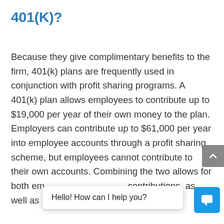401(K)?
Because they give complimentary benefits to the firm, 401(k) plans are frequently used in conjunction with profit sharing programs. A 401(k) plan allows employees to contribute up to $19,000 per year of their own money to the plan. Employers can contribute up to $61,000 per year into employee accounts through a profit sharing scheme, but employees cannot contribute to their own accounts. Combining the two allows for both em[ployee and employer] contributions, as well as more flexibility